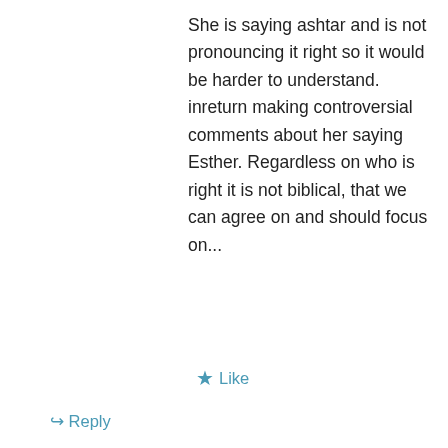She is saying ashtar and is not pronouncing it right so it would be harder to understand. inreturn making controversial comments about her saying Esther. Regardless on who is right it is not biblical, that we can agree on and should focus on...
★ Like
↪ Reply
Esther on June 9, 2014 at 11:39 am
Dude!!!! Get a life okay? Cindy Trimm is anointed and just because you didn't hear properly doesn't mean you should create illustrations about what you think you heard. She said that the Spirit of Esther should fall upon